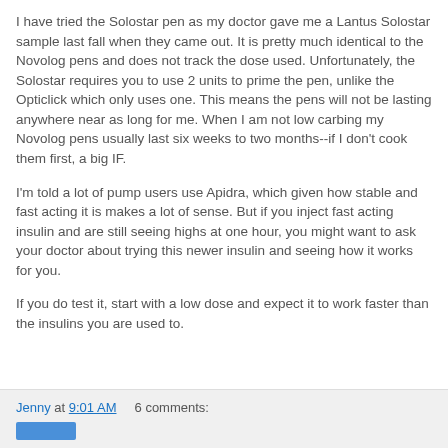I have tried the Solostar pen as my doctor gave me a Lantus Solostar sample last fall when they came out. It is pretty much identical to the Novolog pens and does not track the dose used. Unfortunately, the Solostar requires you to use 2 units to prime the pen, unlike the Opticlick which only uses one. This means the pens will not be lasting anywhere near as long for me. When I am not low carbing my Novolog pens usually last six weeks to two months--if I don't cook them first, a big IF.
I'm told a lot of pump users use Apidra, which given how stable and fast acting it is makes a lot of sense. But if you inject fast acting insulin and are still seeing highs at one hour, you might want to ask your doctor about trying this newer insulin and seeing how it works for you.
If you do test it, start with a low dose and expect it to work faster than the insulins you are used to.
Jenny at 9:01 AM    6 comments: